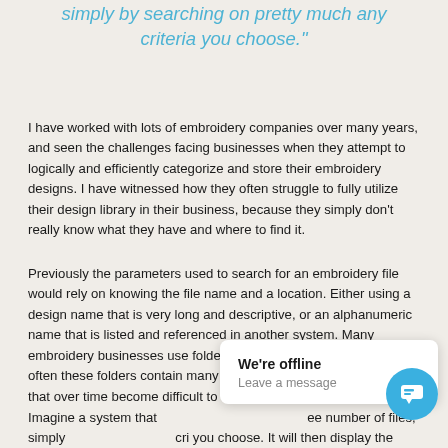simply by searching on pretty much any criteria you choose."
I have worked with lots of embroidery companies over many years, and seen the challenges facing businesses when they attempt to logically and efficiently categorize and store their embroidery designs. I have witnessed how they often struggle to fully utilize their design library in their business, because they simply don't really know what they have and where to find it.
Previously the parameters used to search for an embroidery file would rely on knowing the file name and a location. Either using a design name that is very long and descriptive, or an alphanumeric name that is listed and referenced in another system. Many embroidery businesses use folder names for their customers, and often these folders contain many filenames that look similar and that over time become difficult to distinguish from one another.
Imagine a system that ... number of files, simply ... you choose. It will then display the results in a way that you...
[Figure (screenshot): Chat widget overlay showing 'We're offline' and 'Leave a message' with a blue circular chat button icon]